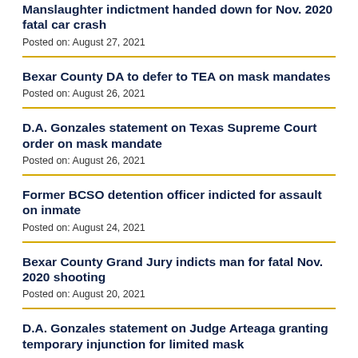Manslaughter indictment handed down for Nov. 2020 fatal car crash
Posted on: August 27, 2021
Bexar County DA to defer to TEA on mask mandates
Posted on: August 26, 2021
D.A. Gonzales statement on Texas Supreme Court order on mask mandate
Posted on: August 26, 2021
Former BCSO detention officer indicted for assault on inmate
Posted on: August 24, 2021
Bexar County Grand Jury indicts man for fatal Nov. 2020 shooting
Posted on: August 20, 2021
D.A. Gonzales statement on Judge Arteaga granting temporary injunction for limited mask